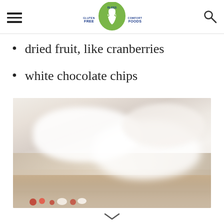Bless Her Heart Y'All - Gluten Free Comfort Foods
dried fruit, like cranberries
white chocolate chips
[Figure (photo): Blurry background photo of white bedding or pillows on a wooden surface, with colorful food items partially visible at the bottom edge of the frame.]
[Figure (other): Down chevron arrow icon at the bottom of the page]